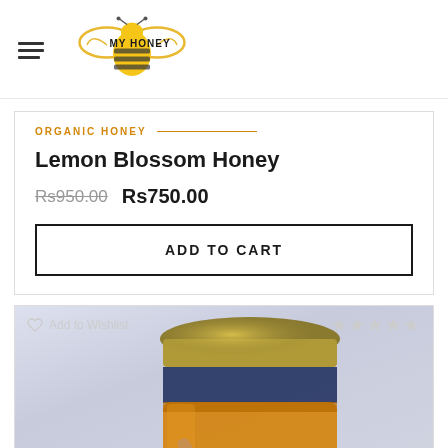[Figure (logo): My Honey logo with bee illustration and hamburger menu icon]
ORGANIC HONEY
Lemon Blossom Honey
Rs950.00  Rs750.00
ADD TO CART
[Figure (photo): Honey jar with gold lid and wooden honey dipper, shown from above at an angle on a light background, with Add to Wishlist and 4-star rating overlay]